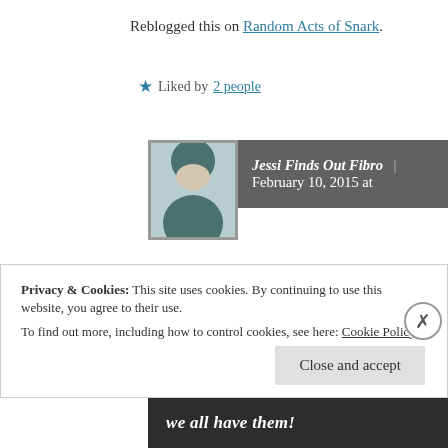Reblogged this on Random Acts of Snark.
Liked by 2 people
Jessi Finds Out Fibro | February 10, 2015 at
Reblogged this on Finding Out Fibro and comm... Once again, aBodyofHope deserves a huge, huge for reframing something that is difficult and tu positive exercise, one that automatically and e us new coping techniques. Such a beautiful sen
Privacy & Cookies: This site uses cookies. By continuing to use this website, you agree to their use.
To find out more, including how to control cookies, see here: Cookie Policy
Close and accept
we all have them!